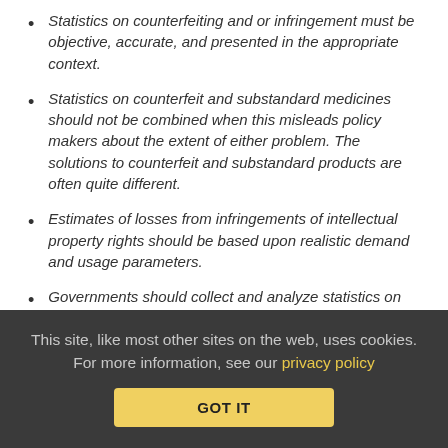Statistics on counterfeiting and or infringement must be objective, accurate, and presented in the appropriate context.
Statistics on counterfeit and substandard medicines should not be combined when this misleads policy makers about the extent of either problem. The solutions to counterfeit and substandard products are often quite different.
Estimates of losses from infringements of intellectual property rights should be based upon realistic demand and usage parameters.
Governments should collect and analyze statistics on the relationship between infringement and affordability of products.
This site, like most other sites on the web, uses cookies. For more information, see our privacy policy GOT IT